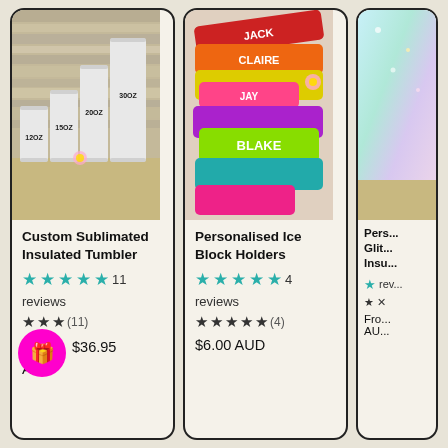[Figure (photo): White insulated tumblers of various sizes (12oz, 15oz, 20oz, 30oz) on a wooden shelf with wood panel background]
Custom Sublimated Insulated Tumbler
★★★★★ 11 reviews
★ ★ ★ (11)
$36.95 AUD
[Figure (photo): Colorful personalised ice block holders in multiple colors (red, orange, yellow, green, pink, purple, teal) with names like JACK, BLAKE printed on them]
Personalised Ice Block Holders
★★★★★ 4 reviews
★ ★ ★ ★ ★ (4)
$6.00 AUD
[Figure (photo): Partial view of a glitter/iridescent insulated tumbler]
Pers... Glit... Insu...
rev...
Fro... AU...